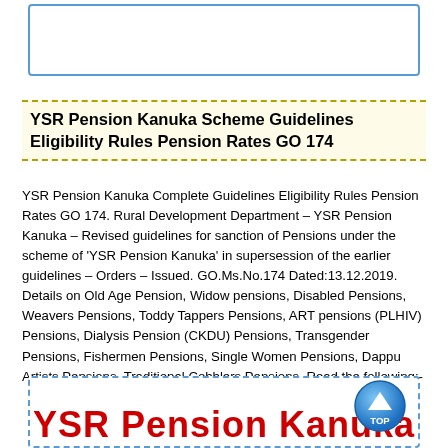[Figure (other): Empty blue-bordered input/text box at top of page]
YSR Pension Kanuka Scheme Guidelines Eligibility Rules Pension Rates GO 174
YSR Pension Kanuka Complete Guidelines Eligibility Rules Pension Rates GO 174. Rural Development Department – YSR Pension Kanuka – Revised guidelines for sanction of Pensions under the scheme of 'YSR Pension Kanuka' in supersession of the earlier guidelines – Orders – Issued. GO.Ms.No.174 Dated:13.12.2019. Details on Old Age Pension, Widow pensions, Disabled Pensions, Weavers Pensions, Toddy Tappers Pensions, ART pensions (PLHIV) Pensions, Dialysis Pension (CKDU) Pensions, Transgender Pensions, Fishermen Pensions, Single Women Pensions, Dappu Artists Pensions, Traditional Cobblers Pensions. Read the following:-
[Figure (other): Dashed blue-bordered box at bottom containing partial text 'YSR Pension Kanuka' in red bold, with blue TOP button overlay]